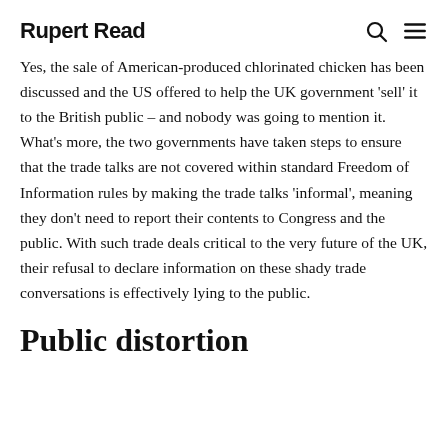Rupert Read
Yes, the sale of American-produced chlorinated chicken has been discussed and the US offered to help the UK government ‘sell’ it to the British public – and nobody was going to mention it. What’s more, the two governments have taken steps to ensure that the trade talks are not covered within standard Freedom of Information rules by making the trade talks ‘informal’, meaning they don't need to report their contents to Congress and the public. With such trade deals critical to the very future of the UK, their refusal to declare information on these shady trade conversations is effectively lying to the public.
Public distortion